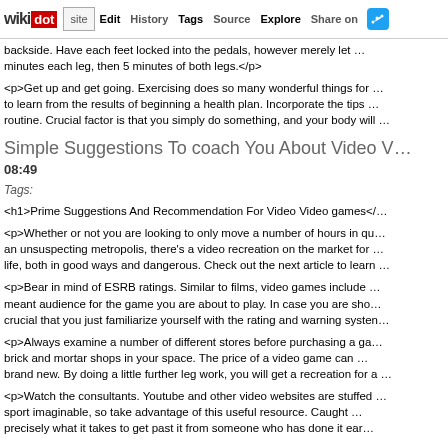wikidot | site | Edit | History | Tags | Source | Explore | Share on Twitter
backside. Have each feet locked into the pedals, however merely let ... minutes each leg, then 5 minutes of both legs.</p>
<p>Get up and get going. Exercising does so many wonderful things for ... to learn from the results of beginning a health plan. Incorporate the tips ... routine. Crucial factor is that you simply do something, and your body will ...
Simple Suggestions To coach You About Video V...
08:49
Tags:
<h1>Prime Suggestions And Recommendation For Video Video games</...
<p>Whether or not you are looking to only move a number of hours in qu... an unsuspecting metropolis, there's a video recreation on the market for ... life, both in good ways and dangerous. Check out the next article to learn ...
<p>Bear in mind of ESRB ratings. Similar to films, video games include ... meant audience for the game you are about to play. In case you are sho... crucial that you just familiarize yourself with the rating and warning systen...
<p>Always examine a number of different stores before purchasing a ga... brick and mortar shops in your space. The price of a video game can ... brand new. By doing a little further leg work, you will get a recreation for a ...
<p>Watch the consultants. Youtube and other video websites are stuffed ... sport imaginable, so take advantage of this useful resource. Caught ... precisely what it takes to get past it from someone who has done it ear...